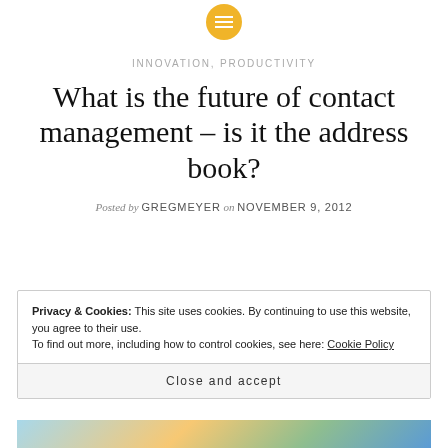[Figure (logo): Yellow circle logo with white horizontal lines (hamburger/menu icon)]
INNOVATION, PRODUCTIVITY
What is the future of contact management – is it the address book?
Posted by GREGMEYER on NOVEMBER 9, 2012
Privacy & Cookies: This site uses cookies. By continuing to use this website, you agree to their use.
To find out more, including how to control cookies, see here: Cookie Policy
Close and accept
[Figure (photo): Partial image of colorful illustration at bottom of page]